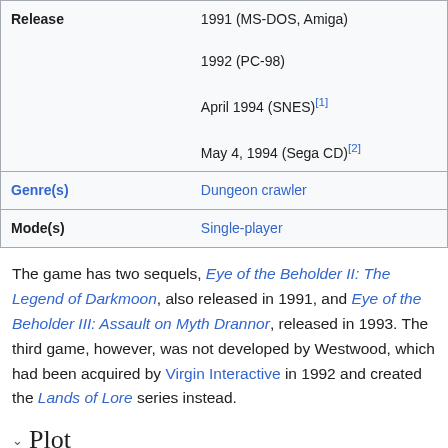| Field | Value |
| --- | --- |
| Release | 1991 (MS-DOS, Amiga)
1992 (PC-98)
April 1994 (SNES)[1]
May 4, 1994 (Sega CD)[2] |
| Genre(s) | Dungeon crawler |
| Mode(s) | Single-player |
The game has two sequels, Eye of the Beholder II: The Legend of Darkmoon, also released in 1991, and Eye of the Beholder III: Assault on Myth Drannor, released in 1993. The third game, however, was not developed by Westwood, which had been acquired by Virgin Interactive in 1992 and created the Lands of Lore series instead.
Plot